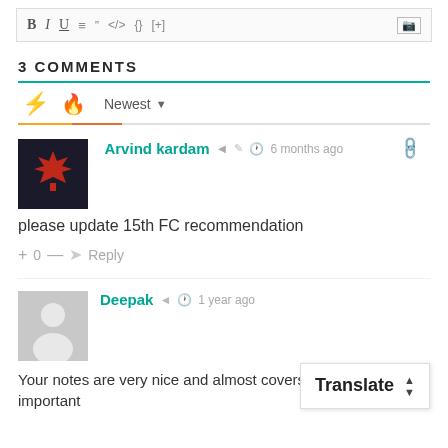[Figure (screenshot): Text editor toolbar with bold, italic, underline, list, quote, code, braces, plus, and image icon buttons]
3 COMMENTS
[Figure (screenshot): Comment sorting tabs: lightning bolt (orange), flame (red), Newest dropdown]
[Figure (photo): User avatar for Arvind kardam showing dark background with red maple leaf]
Arvind kardam  6 months ago
please update 15th FC recommendation
+ 0 — Reply
[Figure (illustration): Default gray user avatar silhouette for Deepak]
Deepak  1 year ago
Your notes are very nice and almost covers the entire important